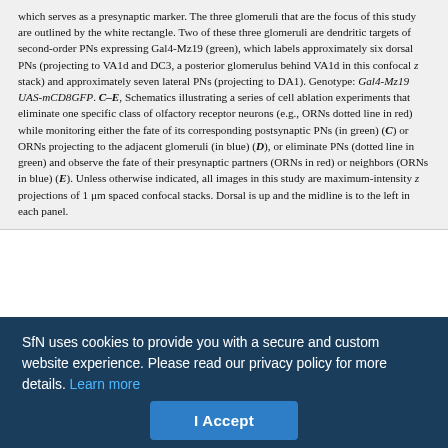which serves as a presynaptic marker. The three glomeruli that are the focus of this study are outlined by the white rectangle. Two of these three glomeruli are dendritic targets of second-order PNs expressing Gal4-Mz19 (green), which labels approximately six dorsal PNs (projecting to VA1d and DC3, a posterior glomerulus behind VA1d in this confocal z stack) and approximately seven lateral PNs (projecting to DA1). Genotype: Gal4-Mz19 UAS-mCD8GFP. C–E, Schematics illustrating a series of cell ablation experiments that eliminate one specific class of olfactory receptor neurons (e.g., ORNs dotted line in red) while monitoring either the fate of its corresponding postsynaptic PNs (in green) (C) or ORNs projecting to the adjacent glomeruli (in blue) (D), or eliminate PNs (dotted line in green) and observe the fate of their presynaptic partners (ORNs in red) or neighbors (ORNs in blue) (E). Unless otherwise indicated, all images in this study are maximum-intensity z projections of 1 μm spaced confocal stacks. Dorsal is up and the midline is to the left in each panel.
We find that, although adult olfactory neurons can undergo plastic changes in response to loss of competition, the connection specificity of ORNs and PNs is extremely stable. Neither ORN axons
SfN uses cookies to provide you with a secure and custom website experience. Please read our privacy policy for more details. Learn more